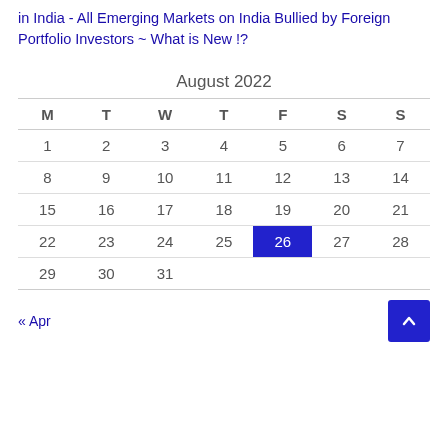in India - All Emerging Markets on India Bullied by Foreign Portfolio Investors ~ What is New !?
| M | T | W | T | F | S | S |
| --- | --- | --- | --- | --- | --- | --- |
| 1 | 2 | 3 | 4 | 5 | 6 | 7 |
| 8 | 9 | 10 | 11 | 12 | 13 | 14 |
| 15 | 16 | 17 | 18 | 19 | 20 | 21 |
| 22 | 23 | 24 | 25 | 26 | 27 | 28 |
| 29 | 30 | 31 |  |  |  |  |
« Apr